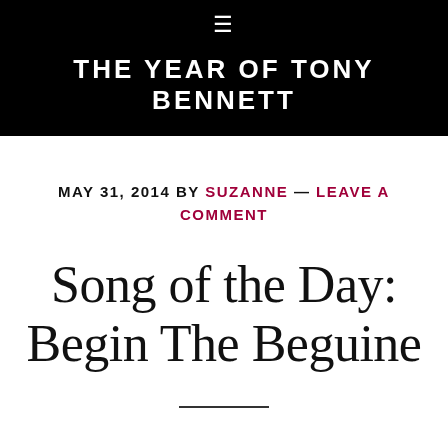THE YEAR OF TONY BENNETT
MAY 31, 2014 BY SUZANNE — LEAVE A COMMENT
Song of the Day: Begin The Beguine